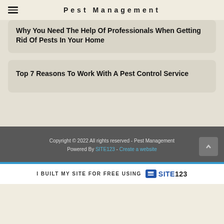Pest Management
Why You Need The Help Of Professionals When Getting Rid Of Pests In Your Home
Top 7 Reasons To Work With A Pest Control Service
Copyright © 2022 All rights reserved - Pest Management Powered By SITE123 - Create a website
I BUILT MY SITE FOR FREE USING SITE123